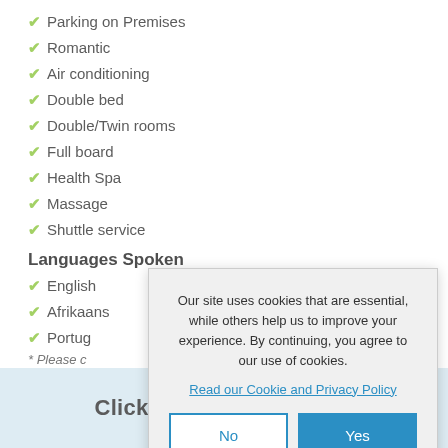✔ Parking on Premises
✔ Romantic
✔ Air conditioning
✔ Double bed
✔ Double/Twin rooms
✔ Full board
✔ Health Spa
✔ Massage
✔ Shuttle service
Languages Spoken
✔ English
✔ Afrikaans
✔ Portug
* Please c
Castelo
Our site uses cookies that are essential, while others help us to improve your experience. By continuing, you agree to our use of cookies. Read our Cookie and Privacy Policy
Click to display the map